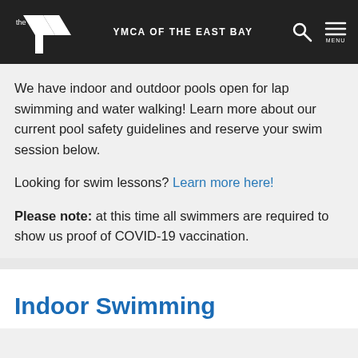YMCA OF THE EAST BAY
We have indoor and outdoor pools open for lap swimming and water walking! Learn more about our current pool safety guidelines and reserve your swim session below.
Looking for swim lessons? Learn more here!
Please note: at this time all swimmers are required to show us proof of COVID-19 vaccination.
Indoor Swimming